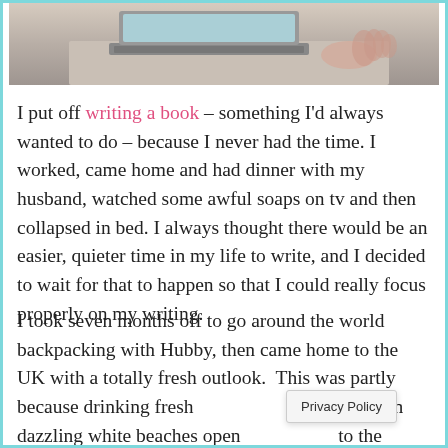[Figure (photo): Photo of a laptop on a wooden desk, viewed from above, with hands near the keyboard]
I put off writing a book – something I'd always wanted to do – because I never had the time. I worked, came home and had dinner with my husband, watched some awful soaps on tv and then collapsed in bed. I always thought there would be an easier, quieter time in my life to write, and I decided to wait for that to happen so that I could really focus properly on my writing.
I took seven months off to go around the world backpacking with Hubby, then came home to the UK with a totally fresh outlook.  This was partly because drinking fresh water on dazzling white beaches open to the